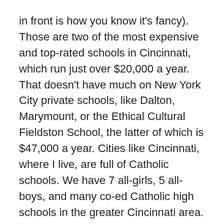in front is how you know it's fancy). Those are two of the most expensive and top-rated schools in Cincinnati, which run just over $20,000 a year. That doesn't have much on New York City private schools, like Dalton, Marymount, or the Ethical Cultural Fieldston School, the latter of which is $47,000 a year. Cities like Cincinnati, where I live, are full of Catholic schools. We have 7 all-girls, 5 all-boys, and many co-ed Catholic high schools in the greater Cincinnati area. So I was curious- where are there a high percentage of private schools? Would NYC or somewhere in the Northeast top the list?
I ran this analysis of the percentage of private school students using both the state population and the total number of students (public + private) as the denominator (the results were pretty similar, but note how DC goes down a lot further, relatively speaking, in